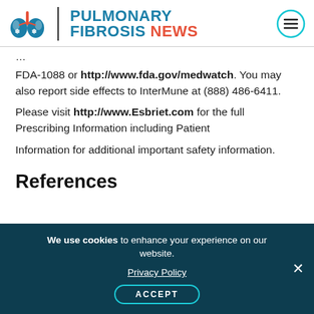Pulmonary Fibrosis News
FDA-1088 or http://www.fda.gov/medwatch. You may also report side effects to InterMune at (888) 486-6411.
Please visit http://www.Esbriet.com for the full Prescribing Information including Patient Information for additional important safety information.
References
We use cookies to enhance your experience on our website. Privacy Policy ACCEPT